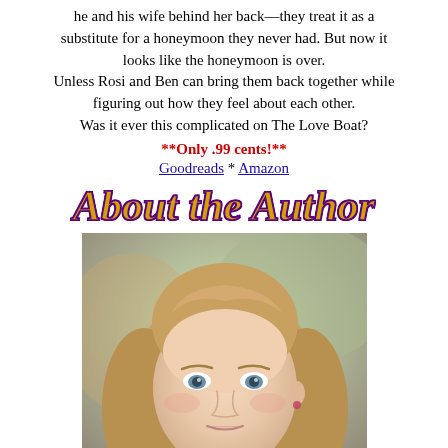...he and his wife behind her back—they treat it as a substitute for a honeymoon they never had. But now it looks like the honeymoon is over. Unless Rosi and Ben can bring them back together while figuring out how they feel about each other. Was it ever this complicated on The Love Boat?
**Only .99 cents!**
Goodreads * Amazon
About the Author
[Figure (photo): Headshot of a woman with straight blonde hair, blue eyes, light skin, wearing a patterned jacket, photographed against a blurred outdoor background]